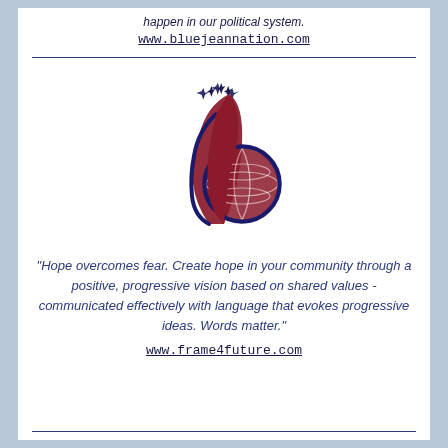happen in our political system.
www.bluejeannation.com
[Figure (logo): Blue Jean Nation / Frame4Future logo: a stylized figure with outstretched arms above a globe with grid lines, in dark red and navy blue, with three star-like sparkles above]
“Hope overcomes fear. Create hope in your community through a positive, progressive vision based on shared values - communicated effectively with language that evokes progressive ideas. Words matter.”
www.frame4future.com